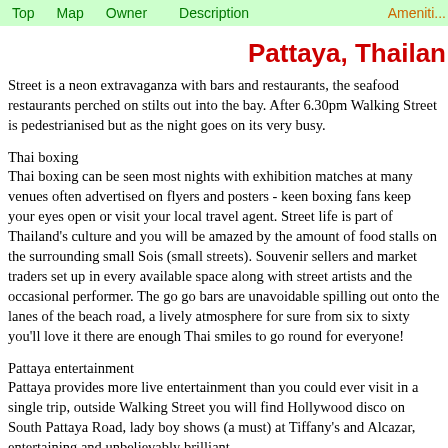Top   Map   Owner   Description   Ameniti...
Pattaya, Thailan...
Street is a neon extravaganza with bars and restaurants, the seafood restaurants perched on stilts out into the bay. After 6.30pm Walking Street is pedestrianised but as the night goes on its very busy.
Thai boxing
Thai boxing can be seen most nights with exhibition matches at many venues often advertised on flyers and posters - keen boxing fans keep your eyes open or visit your local travel agent. Street life is part of Thailand's culture and you will be amazed by the amount of food stalls on the surrounding small Sois (small streets). Souvenir sellers and market traders set up in every available space along with street artists and the occasional performer. The go go bars are unavoidable spilling out onto the lanes of the beach road, a lively atmosphere for sure from six to sixty you'll love it there are enough Thai smiles to go round for everyone!
Pattaya entertainment
Pattaya provides more live entertainment than you could ever visit in a single trip, outside Walking Street you will find Hollywood disco on South Pattaya Road, lady boy shows (a must) at Tiffany's and Alcazar, entertaining and unbelievably brilliant.
Pattaya shopping...